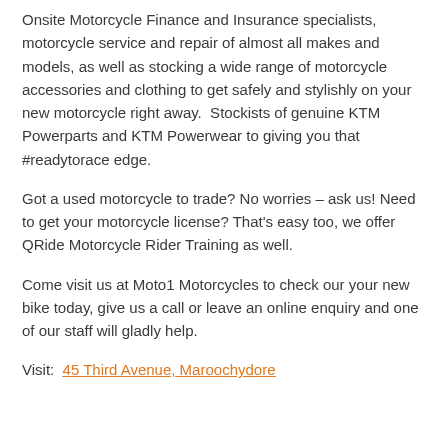Onsite Motorcycle Finance and Insurance specialists, motorcycle service and repair of almost all makes and models, as well as stocking a wide range of motorcycle accessories and clothing to get safely and stylishly on your new motorcycle right away.  Stockists of genuine KTM Powerparts and KTM Powerwear to giving you that #readytorace edge.
Got a used motorcycle to trade? No worries – ask us! Need to get your motorcycle license? That's easy too, we offer QRide Motorcycle Rider Training as well.
Come visit us at Moto1 Motorcycles to check our your new bike today, give us a call or leave an online enquiry and one of our staff will gladly help.
Visit:  45 Third Avenue, Maroochydore